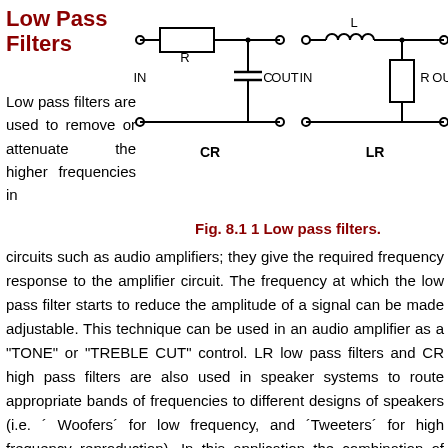Low Pass Filters
[Figure (circuit-diagram): Two low pass filter circuit diagrams: CR filter (left) with resistor R in series and capacitor C to ground, labeled IN and OUT; LR filter (right) with inductor L in series and resistor R to ground, labeled IN and OUT.]
Fig. 8.1 1 Low pass filters.
Low pass filters are used to remove or attenuate the higher frequencies in circuits such as audio amplifiers; they give the required frequency response to the amplifier circuit. The frequency at which the low pass filter starts to reduce the amplitude of a signal can be made adjustable. This technique can be used in an audio amplifier as a "TONE" or "TREBLE CUT" control. LR low pass filters and CR high pass filters are also used in speaker systems to route appropriate bands of frequencies to different designs of speakers (i.e. ´ Woofers´ for low frequency, and ´Tweeters´ for high frequency reproduction). In this application the combination of high and low pass filters is called a "crossover filter".